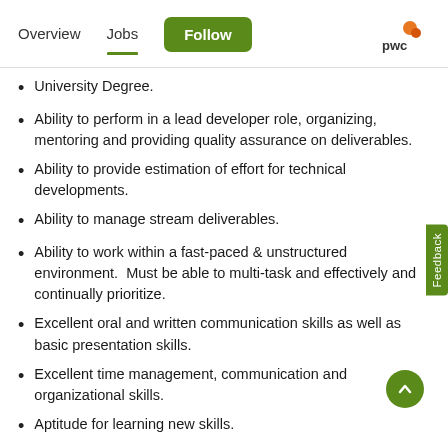Overview  Jobs  Follow  pwc
University Degree.
Ability to perform in a lead developer role, organizing, mentoring and providing quality assurance on deliverables.
Ability to provide estimation of effort for technical developments.
Ability to manage stream deliverables.
Ability to work within a fast-paced & unstructured environment.  Must be able to multi-task and effectively and continually prioritize.
Excellent oral and written communication skills as well as basic presentation skills.
Excellent time management, communication and organizational skills.
Aptitude for learning new skills.